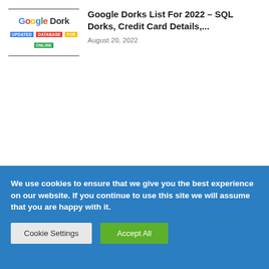[Figure (logo): Google Dork logo thumbnail with Google-colored letters and a subtitle 'UPDATED DATABASE FOR ONLINE']
Google Dorks List For 2022 – SQL Dorks, Credit Card Details,...
August 20, 2022
We use cookies to ensure that we give you the best experience on our website. If you continue to use this site we will assume that you are happy with it.